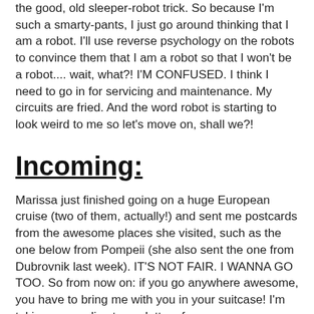the good, old sleeper-robot trick. So because I'm such a smarty-pants, I just go around thinking that I am a robot. I'll use reverse psychology on the robots to convince them that I am a robot so that I won't be a robot.... wait, what?! I'M CONFUSED. I think I need to go in for servicing and maintenance. My circuits are fried. And the word robot is starting to look weird to me so let's move on, shall we?!
Incoming:
Marissa just finished going on a huge European cruise (two of them, actually!) and sent me postcards from the awesome places she visited, such as the one below from Pompeii (she also sent the one from Dubrovnik last week). IT'S NOT FAIR. I WANNA GO TOO. So from now on: if you go anywhere awesome, you have to bring me with you in your suitcase! I'm taking any replies to my letters from now on as agreement of these supposed-to-be-implicit-but-I-am-making-them-explicit-so-there's-no-confusion freaky deaky terms. Oh, and by replying, you also waive the right to be creeped out. Thank you and have a nice day!!